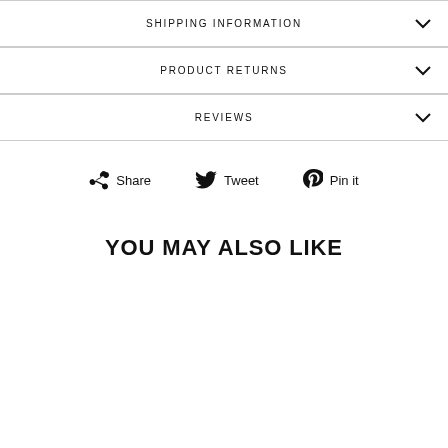SHIPPING INFORMATION
PRODUCT RETURNS
REVIEWS
Share  Tweet  Pin it
YOU MAY ALSO LIKE